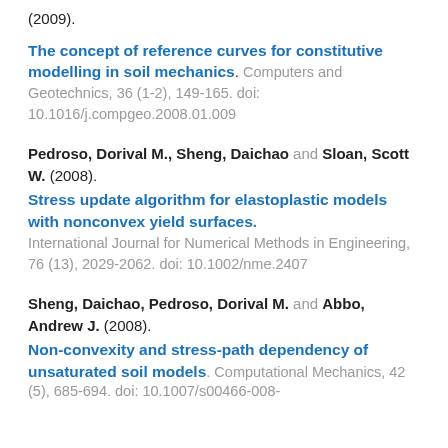(2009).
The concept of reference curves for constitutive modelling in soil mechanics. Computers and Geotechnics, 36 (1-2), 149-165. doi: 10.1016/j.compgeo.2008.01.009
Pedroso, Dorival M., Sheng, Daichao and Sloan, Scott W. (2008).
Stress update algorithm for elastoplastic models with nonconvex yield surfaces. International Journal for Numerical Methods in Engineering, 76 (13), 2029-2062. doi: 10.1002/nme.2407
Sheng, Daichao, Pedroso, Dorival M. and Abbo, Andrew J. (2008).
Non-convexity and stress-path dependency of unsaturated soil models. Computational Mechanics, 42 (5), 685-694. doi: 10.1007/s00466-008-